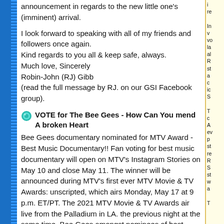announcement in regards to the new little one's (imminent) arrival.
I look forward to speaking with all of my friends and followers once again.
Kind regards to you all & keep safe, always.
Much love, Sincerely
Robin-John (RJ) Gibb
(read the full message by RJ. on our GSI Facebook group).
VOTE for The Bee Gees - How Can You mend A broken Heart
Bee Gees documentary nominated for MTV Award - Best Music Documentary!! Fan voting for best music documentary will open on MTV's Instagram Stories on May 10 and close May 11. The winner will be announced during MTV's first ever MTV Movie & TV Awards: unscripted, which airs Monday, May 17 at 9 p.m. ET/PT. The 2021 MTV Movie & TV Awards air live from the Palladium in LA. the previous night at the same time. Bee Gees amongst nominees of best documentary.
More information on the official MTV Movie & TV Awards website.: www.mtv.com
www.mtv.com